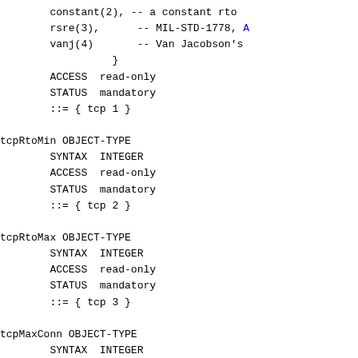constant(2), -- a constant rto
        rsre(3),      -- MIL-STD-1778, A
        vanj(4)       -- Van Jacobson's
                  }
        ACCESS  read-only
        STATUS  mandatory
        ::= { tcp 1 }

tcpRtoMin OBJECT-TYPE
        SYNTAX  INTEGER
        ACCESS  read-only
        STATUS  mandatory
        ::= { tcp 2 }

tcpRtoMax OBJECT-TYPE
        SYNTAX  INTEGER
        ACCESS  read-only
        STATUS  mandatory
        ::= { tcp 3 }

tcpMaxConn OBJECT-TYPE
        SYNTAX  INTEGER
        ACCESS  read-only
        STATUS  mandatory
        ::= { tcp 4 }

tcpActiveOpens OBJECT-TYPE
        SYNTAX  Counter
        ACCESS  read-only
        STATUS  mandatory